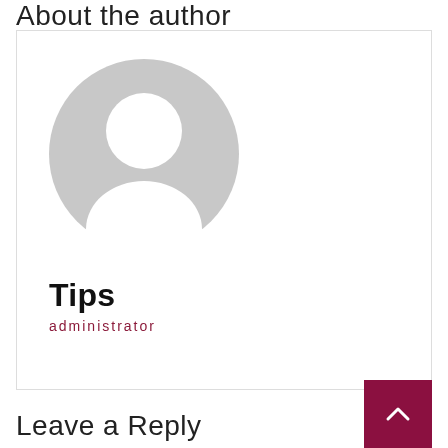About the author
[Figure (illustration): Generic grey placeholder avatar/profile picture showing a circular silhouette of a person (head and shoulders) in light grey on white background]
Tips
administrator
Leave a Reply